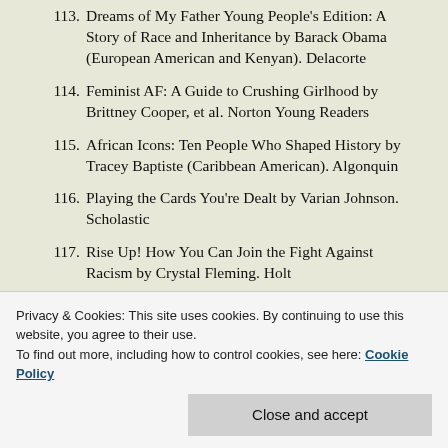113. Dreams of My Father Young People's Edition: A Story of Race and Inheritance by Barack Obama (European American and Kenyan). Delacorte
114. Feminist AF: A Guide to Crushing Girlhood by Brittney Cooper, et al. Norton Young Readers
115. African Icons: Ten People Who Shaped History by Tracey Baptiste (Caribbean American). Algonquin
116. Playing the Cards You're Dealt by Varian Johnson. Scholastic
117. Rise Up! How You Can Join the Fight Against Racism by Crystal Fleming. Holt
118. Why We Fly by Kimberly Jones and Gilley Segal. Sourcebook Fires
Privacy & Cookies: This site uses cookies. By continuing to use this website, you agree to their use. To find out more, including how to control cookies, see here: Cookie Policy
Close and accept